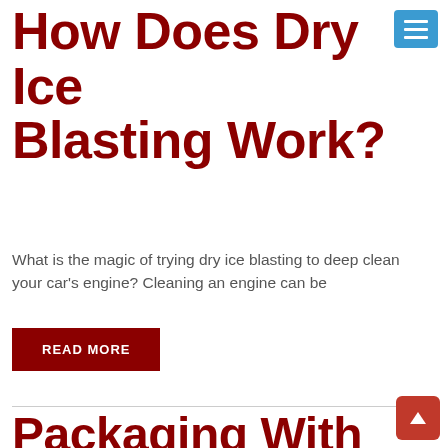How Does Dry Ice Blasting Work?
What is the magic of trying dry ice blasting to deep clean your car's engine? Cleaning an engine can be
READ MORE
Packaging With Dry Ice Vs. Ice Packs
When pharmaceutical and food industries need medicines and foods shipped, packaging with dry ice is a preferred option